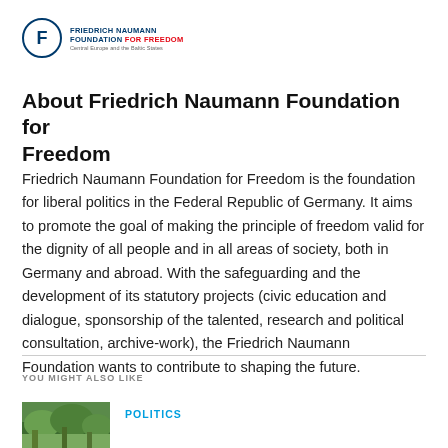[Figure (logo): Friedrich Naumann Foundation for Freedom logo — circular F badge and text lockup with 'Central Europe and the Baltic States' subtitle]
About Friedrich Naumann Foundation for Freedom
Friedrich Naumann Foundation for Freedom is the foundation for liberal politics in the Federal Republic of Germany. It aims to promote the goal of making the principle of freedom valid for the dignity of all people and in all areas of society, both in Germany and abroad. With the safeguarding and the development of its statutory projects (civic education and dialogue, sponsorship of the talented, research and political consultation, archive-work), the Friedrich Naumann Foundation wants to contribute to shaping the future.
YOU MIGHT ALSO LIKE
[Figure (photo): Outdoor photo thumbnail (trees/greenery)]
POLITICS